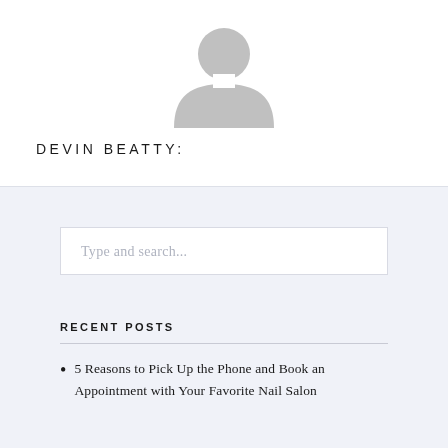[Figure (illustration): Gray placeholder avatar silhouette icon centered at top of white section]
DEVIN BEATTY:
Type and search...
RECENT POSTS
5 Reasons to Pick Up the Phone and Book an Appointment with Your Favorite Nail Salon